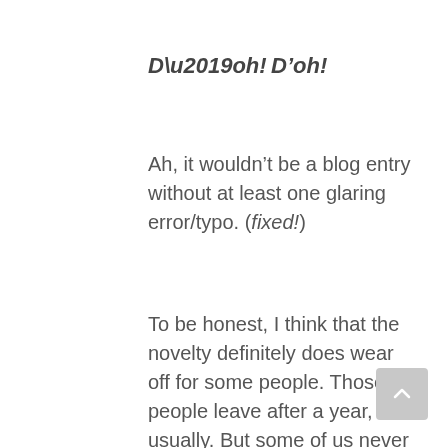D’oh!
Ah, it wouldn’t be a blog entry without at least one glaring error/typo. (fixed!)
To be honest, I think that the novelty definitely does wear off for some people. Those people leave after a year, usually. But some of us never